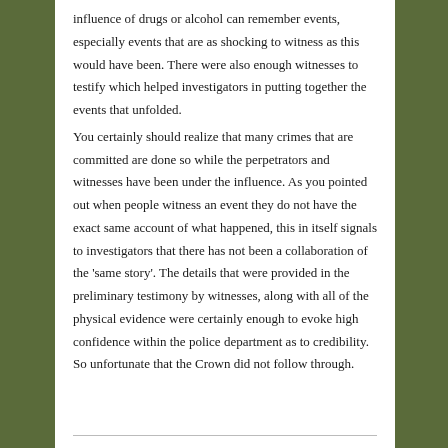influence of drugs or alcohol can remember events, especially events that are as shocking to witness as this would have been. There were also enough witnesses to testify which helped investigators in putting together the events that unfolded. You certainly should realize that many crimes that are committed are done so while the perpetrators and witnesses have been under the influence. As you pointed out when people witness an event they do not have the exact same account of what happened, this in itself signals to investigators that there has not been a collaboration of the 'same story'. The details that were provided in the preliminary testimony by witnesses, along with all of the physical evidence were certainly enough to evoke high confidence within the police department as to credibility. So unfortunate that the Crown did not follow through.